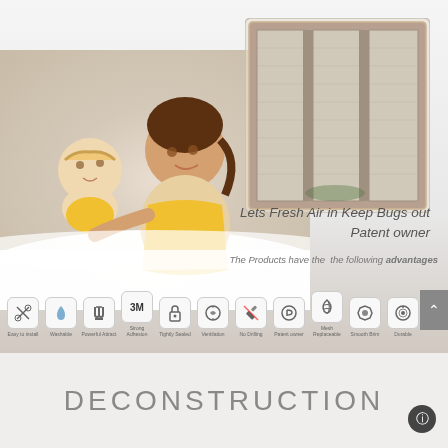[Figure (infographic): Product advertisement showing a mother and baby on a white bed on the left, and a window screen/mosquito net product on the upper right. Below the product image is the tagline 'Lets Fresh Air in Keep Bugs out Patent owner'. Below that is text 'The Products have the the following advantages'. At the bottom of the ad section is a row of 11 product feature icons with labels: Easy to Install, Washable, Powerful Attract, Strong Adhesive, Tightly Sealed, Ventilation, No Drilling, Patent owner, Mesh Replaceable, Smooth Brim, Durable. A scroll-up arrow button appears on the right.]
Lets Fresh Air in Keep Bugs out Patent owner
The Products have the the following advantages
DECONSTRUCTION